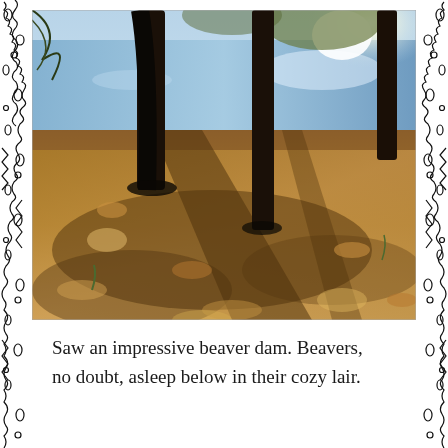[Figure (photo): Outdoor nature photograph showing a forest scene by a lake or river. Tree trunks are silhouetted in the foreground, casting long shadows across a ground covered in brown fallen leaves. Water is visible in the background reflecting sunlight. The scene appears to be autumn with warm golden-brown tones.]
Saw an impressive beaver dam. Beavers, no doubt, asleep below in their cozy lair.